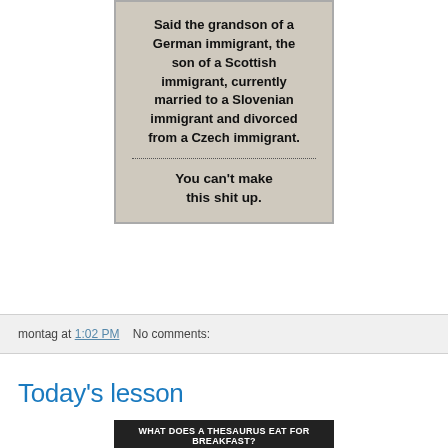[Figure (illustration): Meme image with beige/tan background and dotted divider. Top text: 'Said the grandson of a German immigrant, the son of a Scottish immigrant, currently married to a Slovenian immigrant and divorced from a Czech immigrant.' Bottom text: 'You can't make this shit up.']
montag at 1:02 PM   No comments:
Today's lesson
[Figure (photo): Dark photo with text 'WHAT DOES A THESAURUS EAT FOR BREAKFAST?' visible at top]